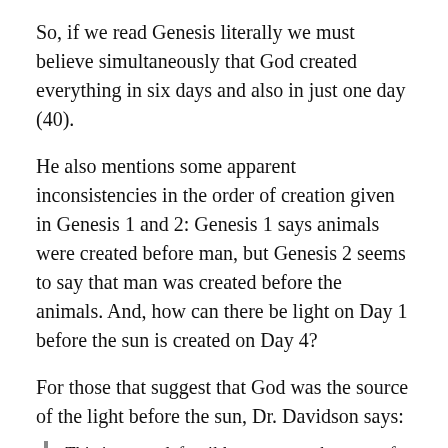So, if we read Genesis literally we must believe simultaneously that God created everything in six days and also in just one day (40).
He also mentions some apparent inconsistencies in the order of creation given in Genesis 1 and 2: Genesis 1 says animals were created before man, but Genesis 2 seems to say that man was created before the animals. And, how can there be light on Day 1 before the sun is created on Day 4?
For those that suggest that God was the source of the light before the sun, Dr. Davidson says:
This is not a defensible argument, however, for it requires that God was dark prior to Day 1, and not omnipresent thereafter. Morning and evening without a sun would only be possible if God first